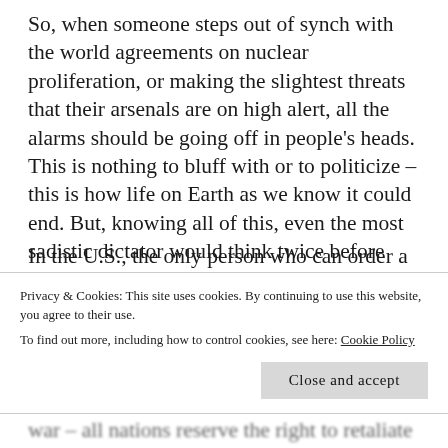So, when someone steps out of synch with the world agreements on nuclear proliferation, or making the slightest threats that their arsenals are on high alert, all the alarms should be going off in people's heads. This is nothing to bluff with or to politicize – this is how life on Earth as we know it could end. But, knowing all of this, even the most sadistic dictator would think twice before pressing the red button. In a world where 8 other nations own nuclear arsenals, that would be suicide. However, what makes these situations so fragile are the risks of a false alarm.
In the U.S., the only person who can order a
Privacy & Cookies: This site uses cookies. By continuing to use this website, you agree to their use.
To find out more, including how to control cookies, see here: Cookie Policy
war – all nations reserve the right to retaliate